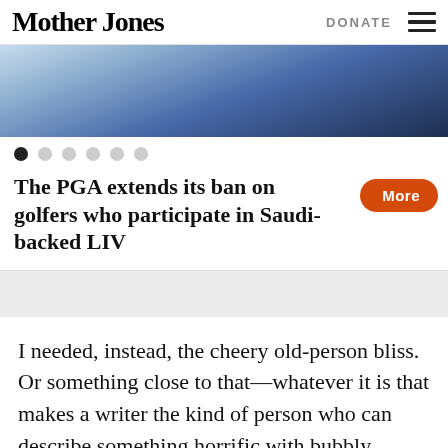Mother Jones | DONATE
[Figure (photo): Partial photo visible at top, showing a person in blue/white clothing with headphones or accessories, cropped.]
Carousel navigation dots (6 dots, first active)
The PGA extends its ban on golfers who participate in Saudi-backed LIV
I needed, instead, the cheery old-person bliss. Or something close to that—whatever it is that makes a writer the kind of person who can describe something horrific with bubbly curiosity, or pinpoint the world's failings with a laugh. My main sources for this are Mel Brooks, Oliver Sacks, and